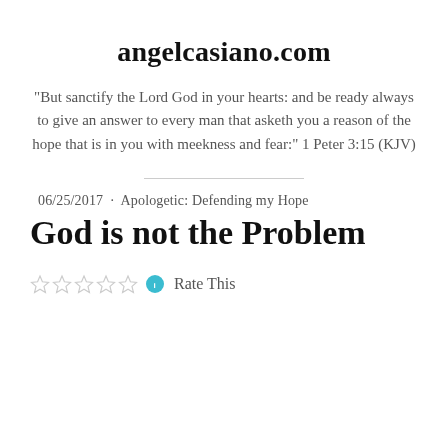angelcasiano.com
"But sanctify the Lord God in your hearts: and be ready always to give an answer to every man that asketh you a reason of the hope that is in you with meekness and fear:" 1 Peter 3:15 (KJV)
06/25/2017  ·  Apologetic: Defending my Hope
God is not the Problem
Rate This